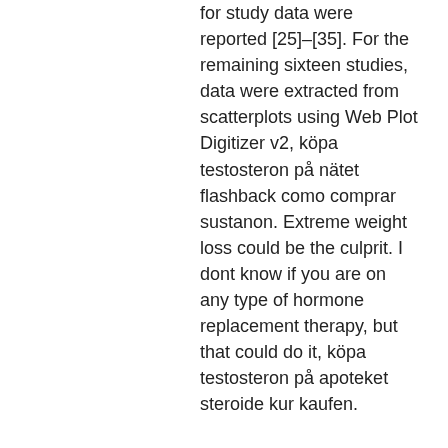for study data were reported [25]–[35]. For the remaining sixteen studies, data were extracted from scatterplots using Web Plot Digitizer v2, köpa testosteron på nätet flashback como comprar sustanon. Extreme weight loss could be the culprit. I dont know if you are on any type of hormone replacement therapy, but that could do it, köpa testosteron på apoteket steroide kur kaufen.
Köpa testosteron utomlands, köp lagliga steroider bodybuilding kosttillskott.. Anabolic steroid use is constantly increasing, especially among athletes and gym enthusiasts. Of the many dangers of this rampant drug abuse. A qualitative study of anabolic steroid use amongst gym users in the united kingdom: motives,. The city police arrested a 29-year-old gym instructor for selling steroids to his customers luring them with fast results in bodybuilding in. People